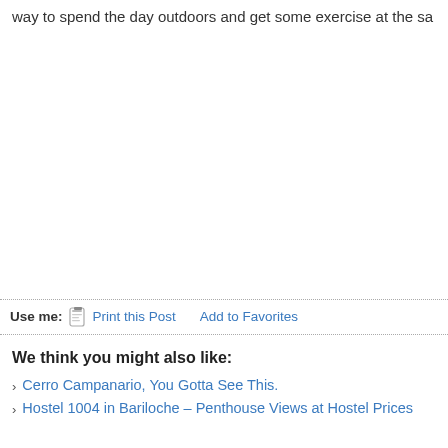way to spend the day outdoors and get some exercise at the sa
Use me: Print this Post   Add to Favorites
We think you might also like:
Cerro Campanario, You Gotta See This.
Hostel 1004 in Bariloche – Penthouse Views at Hostel Prices